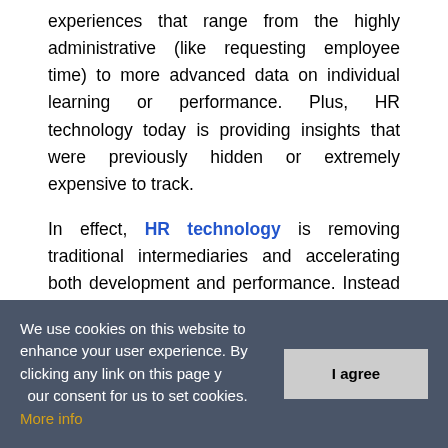experiences that range from the highly administrative (like requesting employee time) to more advanced data on individual learning or performance. Plus, HR technology today is providing insights that were previously hidden or extremely expensive to track.
In effect, HR technology is removing traditional intermediaries and accelerating both development and performance. Instead of data being transmitted primarily to HR, it is now provided directly to individuals and their respective managers. This creates a real change in how technology helps people understand their performance, connect to the
We use cookies on this website to enhance your user experience. By clicking any link on this page you give your consent for us to set cookies. More info